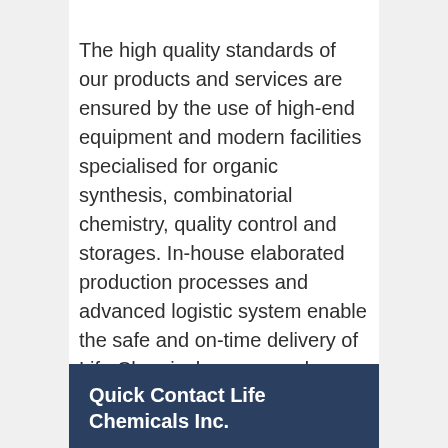The high quality standards of our products and services are ensured by the use of high-end equipment and modern facilities specialised for organic synthesis, combinatorial chemistry, quality control and storages. In-house elaborated production processes and advanced logistic system enable the safe and on-time delivery of Life Chemicals compounds.
Quick Contact Life Chemicals Inc.